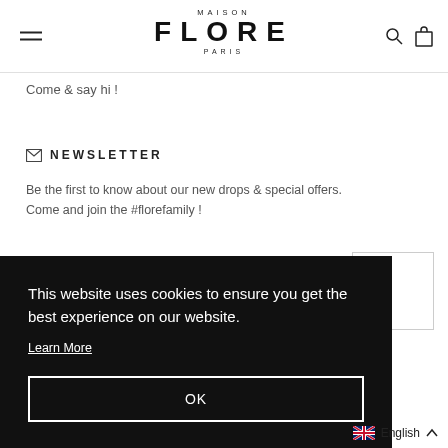[Figure (logo): Maison Flore Paris logo with hamburger menu, search icon, and bag icon in header]
Come & say hi !
✉ NEWSLETTER
Be the first to know about our new drops & special offers. Come and join the #florefamily !
This website uses cookies to ensure you get the best experience on our website.
Learn More
OK
English